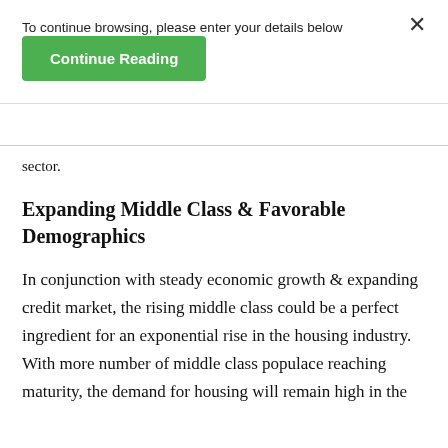To continue browsing, please enter your details below
Continue Reading
sector.
Expanding Middle Class & Favorable Demographics
In conjunction with steady economic growth & expanding credit market, the rising middle class could be a perfect ingredient for an exponential rise in the housing industry. With more number of middle class populace reaching maturity, the demand for housing will remain high in the